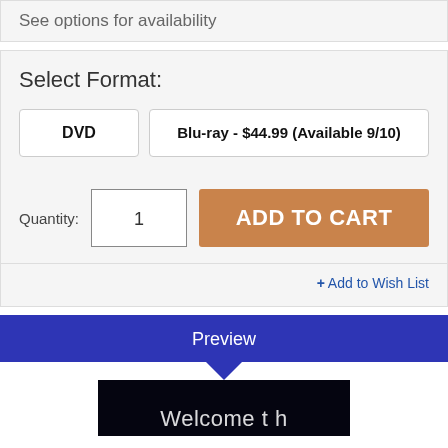See options for availability
Select Format:
DVD
Blu-ray - $44.99 (Available 9/10)
Quantity: 1
ADD TO CART
Add to Wish List
Preview
[Figure (screenshot): Preview image with dark background showing beginning of text 'Welcome...']